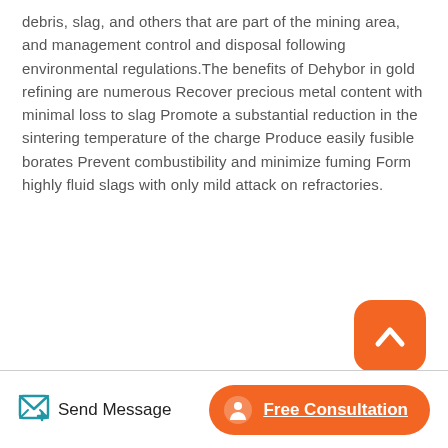debris, slag, and others that are part of the mining area, and management control and disposal following environmental regulations.The benefits of Dehybor in gold refining are numerous Recover precious metal content with minimal loss to slag Promote a substantial reduction in the sintering temperature of the charge Produce easily fusible borates Prevent combustibility and minimize fuming Form highly fluid slags with only mild attack on refractories.
[Figure (other): Orange rounded square button with a white upward chevron/arrow icon, used as a scroll-to-top button]
Related Articles
Mineral Concentrator Mining Machine For Ircon
Send Message | Free Consultation